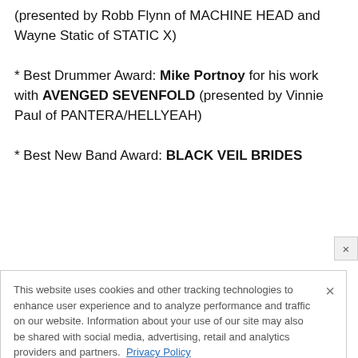(presented by Robb Flynn of MACHINE HEAD and Wayne Static of STATIC X)
* Best Drummer Award: Mike Portnoy for his work with AVENGED SEVENFOLD (presented by Vinnie Paul of PANTERA/HELLYEAH)
* Best New Band Award: BLACK VEIL BRIDES
This website uses cookies and other tracking technologies to enhance user experience and to analyze performance and traffic on our website. Information about your use of our site may also be shared with social media, advertising, retail and analytics providers and partners. Privacy Policy
[Figure (infographic): Advertisement banner for At The Gates concert, August 29, The Fillmore Silver Spring]